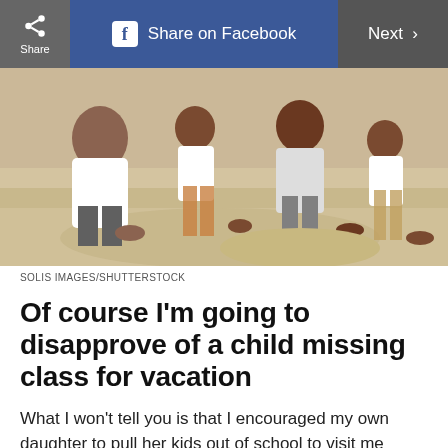Share | Share on Facebook | Next >
[Figure (photo): Family with children playing in sand at a beach, adults and kids crouching together]
SOLIS IMAGES/SHUTTERSTOCK
Of course I'm going to disapprove of a child missing class for vacation
What I won't tell you is that I encouraged my own daughter to pull her kids out of school to visit me during my break. These teacher-approved tricks will get your kids ready for back to school.